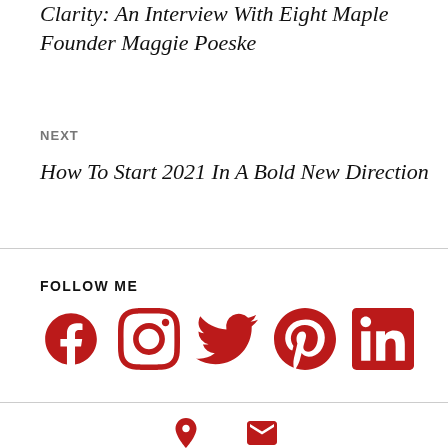Clarity: An Interview With Eight Maple Founder Maggie Poeske
NEXT
How To Start 2021 In A Bold New Direction
FOLLOW ME
[Figure (illustration): Row of five social media icons in red: Facebook, Instagram, Twitter, Pinterest, LinkedIn]
[Figure (illustration): Footer icons in red: location pin and envelope/email]